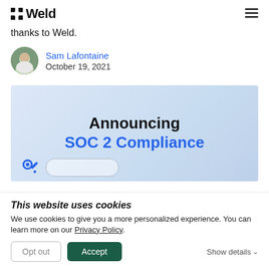Weld
thanks to Weld.
Sam Lafontaine
October 19, 2021
[Figure (illustration): Announcement banner with light blue gradient background showing text 'Announcing SOC 2 Compliance' with a key icon and a rounded rectangle shape at the bottom]
This website uses cookies
We use cookies to give you a more personalized experience. You can learn more on our Privacy Policy.
Opt out   Accept   Show details